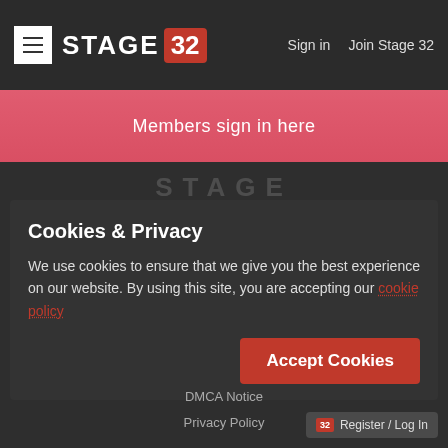STAGE 32   Sign in   Join Stage 32
Members sign in here
[Figure (logo): Stage 32 watermark logo in gray]
Cookies & Privacy
We use cookies to ensure that we give you the best experience on our website. By using this site, you are accepting our cookie policy
Accept Cookies
DMCA Notice
Privacy Policy
Register / Log In